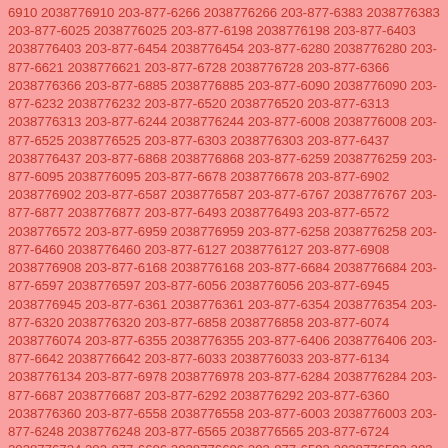6910 2038776910 203-877-6266 2038776266 203-877-6383 2038776383 203-877-6025 2038776025 203-877-6198 2038776198 203-877-6403 2038776403 203-877-6454 2038776454 203-877-6280 2038776280 203-877-6621 2038776621 203-877-6728 2038776728 203-877-6366 2038776366 203-877-6885 2038776885 203-877-6090 2038776090 203-877-6232 2038776232 203-877-6520 2038776520 203-877-6313 2038776313 203-877-6244 2038776244 203-877-6008 2038776008 203-877-6525 2038776525 203-877-6303 2038776303 203-877-6437 2038776437 203-877-6868 2038776868 203-877-6259 2038776259 203-877-6095 2038776095 203-877-6678 2038776678 203-877-6902 2038776902 203-877-6587 2038776587 203-877-6767 2038776767 203-877-6877 2038776877 203-877-6493 2038776493 203-877-6572 2038776572 203-877-6959 2038776959 203-877-6258 2038776258 203-877-6460 2038776460 203-877-6127 2038776127 203-877-6908 2038776908 203-877-6168 2038776168 203-877-6684 2038776684 203-877-6597 2038776597 203-877-6056 2038776056 203-877-6945 2038776945 203-877-6361 2038776361 203-877-6354 2038776354 203-877-6320 2038776320 203-877-6858 2038776858 203-877-6074 2038776074 203-877-6355 2038776355 203-877-6406 2038776406 203-877-6642 2038776642 203-877-6033 2038776033 203-877-6134 2038776134 203-877-6978 2038776978 203-877-6284 2038776284 203-877-6687 2038776687 203-877-6292 2038776292 203-877-6360 2038776360 203-877-6558 2038776558 203-877-6003 2038776003 203-877-6248 2038776248 203-877-6565 2038776565 203-877-6724 2038776724 203-877-6606 2038776606 203-877-6593 2038776593 203-877-